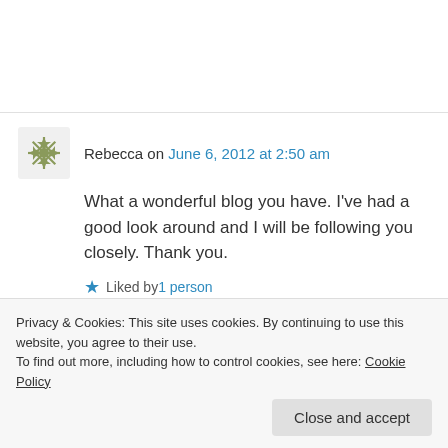Rebecca on June 6, 2012 at 2:50 am
What a wonderful blog you have. I've had a good look around and I will be following you closely. Thank you.
Liked by 1 person
Privacy & Cookies: This site uses cookies. By continuing to use this website, you agree to their use.
To find out more, including how to control cookies, see here: Cookie Policy
Close and accept